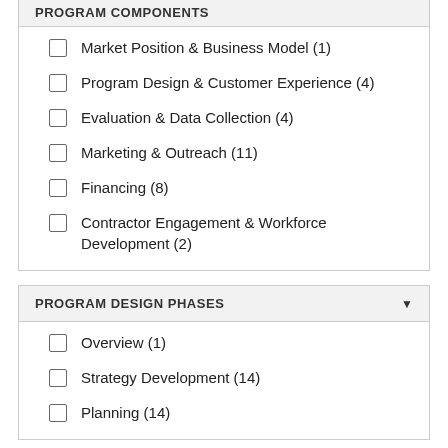PROGRAM COMPONENTS
Market Position & Business Model (1)
Program Design & Customer Experience (4)
Evaluation & Data Collection (4)
Marketing & Outreach (11)
Financing (8)
Contractor Engagement & Workforce Development (2)
PROGRAM DESIGN PHASES
Overview (1)
Strategy Development (14)
Planning (14)